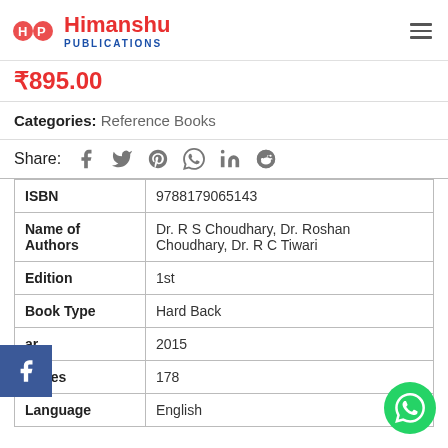Himanshu Publications
₹895.00
Categories: Reference Books
Share: (social icons: Facebook, Twitter, Pinterest, WhatsApp, LinkedIn, Reddit)
| Field | Value |
| --- | --- |
| ISBN | 9788179065143 |
| Name of Authors | Dr. R S Choudhary, Dr. Roshan Choudhary, Dr. R C Tiwari |
| Edition | 1st |
| Book Type | Hard Back |
| ar | 2015 |
| Pages | 178 |
| Language | English |